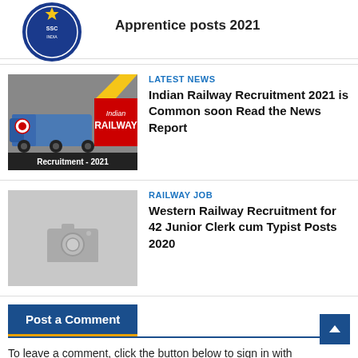[Figure (logo): Circular blue logo/seal (partial view at top)]
Apprentice posts 2021
[Figure (photo): Indian Railway Recruitment 2021 promotional image with blue locomotive and red banner saying 'Indian RAILWAY Recruitment - 2021']
LATEST NEWS
Indian Railway Recruitment 2021 is Common soon Read the News Report
[Figure (photo): Placeholder image with camera icon on grey background]
RAILWAY JOB
Western Railway Recruitment for 42 Junior Clerk cum Typist Posts 2020
Post a Comment
To leave a comment, click the button below to sign in with